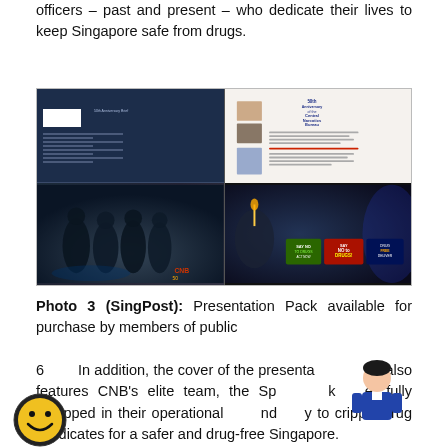officers – past and present – who dedicate their lives to keep Singapore safe from drugs.
[Figure (photo): SingPost Presentation Pack showing CNB 50th anniversary publication with images of CNB officers and drug prevention campaign materials including 'Say No to Drugs' cards]
Photo 3 (SingPost): Presentation Pack available for purchase by members of public
6	In addition, the cover of the presentation pack also features CNB's elite team, the Special Task Force, fully equipped in their operational gear and ready to cripple drug syndicates for a safer and drug-free Singapore.